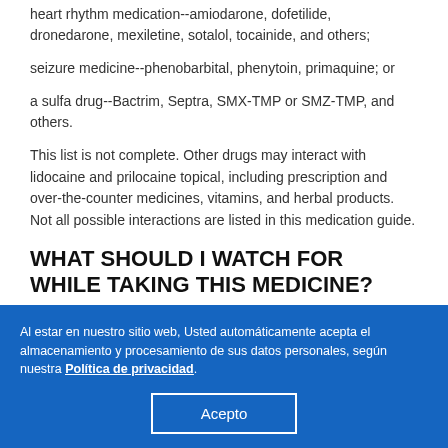heart rhythm medication--amiodarone, dofetilide, dronedarone, mexiletine, sotalol, tocainide, and others;
seizure medicine--phenobarbital, phenytoin, primaquine; or
a sulfa drug--Bactrim, Septra, SMX-TMP or SMZ-TMP, and others.
This list is not complete. Other drugs may interact with lidocaine and prilocaine topical, including prescription and over-the-counter medicines, vitamins, and herbal products. Not all possible interactions are listed in this medication guide.
WHAT SHOULD I WATCH FOR WHILE TAKING THIS MEDICINE?
An overdose of numbing medicine can cause fatal side effects
Al estar en nuestro sitio web, Usted automáticamente acepta el almacenamiento y procesamiento de sus datos personales, según nuestra Política de privacidad.
Acepto